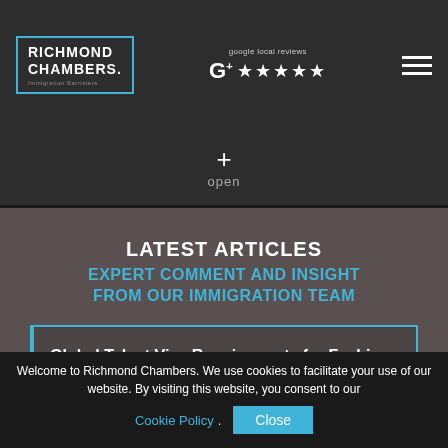[Figure (logo): Richmond Chambers Immigration Barristers logo with teal border box]
google local reviews ★★★★★
[Figure (other): Hamburger menu icon (three horizontal lines)]
+ open
LATEST ARTICLES
EXPERT COMMENT AND INSIGHT FROM OUR IMMIGRATION TEAM
Global Talent Visa Requirements for Fashion Designers
Welcome to Richmond Chambers. We use cookies to facilitate your use of our website. By visiting this website, you consent to our Cookie Policy.